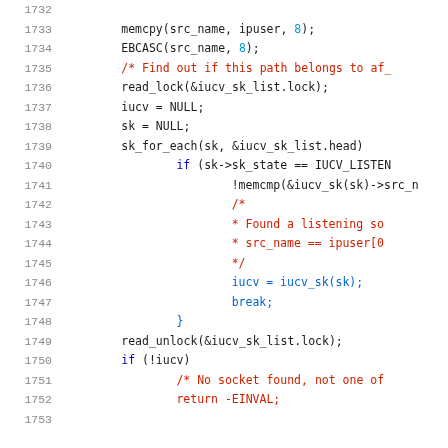Source code listing lines 1732-1752, C language kernel code with line numbers, showing IUCV socket path lookup logic.